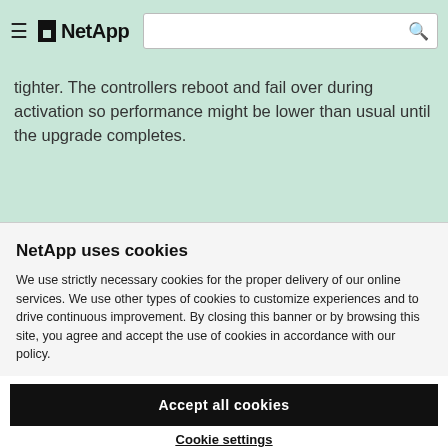NetApp [hamburger menu, search bar, globe icon]
tighter. The controllers reboot and fail over during activation so performance might be lower than usual until the upgrade completes.
NetApp uses cookies
We use strictly necessary cookies for the proper delivery of our online services. We use other types of cookies to customize experiences and to drive continuous improvement. By closing this banner or by browsing this site, you agree and accept the use of cookies in accordance with our policy.
Accept all cookies
Cookie settings